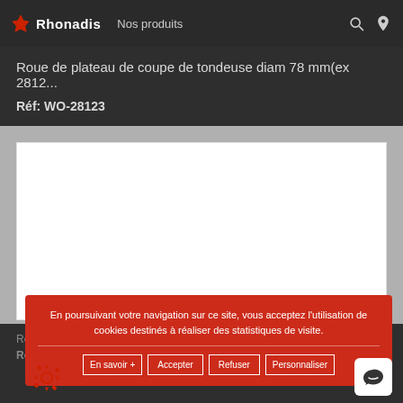Rhonadis  Nos produits
Roue de plateau de coupe de tondeuse diam 78 mm(ex 2812...
Réf: WO-28123
[Figure (photo): White product image area (no product visible)]
En poursuivant votre navigation sur ce site, vous acceptez l'utilisation de cookies destinés à réaliser des statistiques de visite.
En savoir +   Accepter   Refuser   Personnaliser